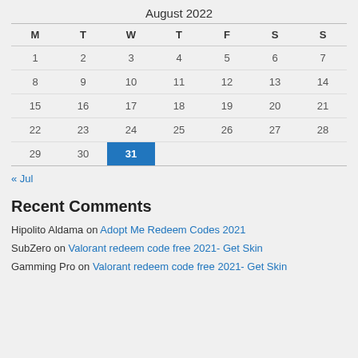| M | T | W | T | F | S | S |
| --- | --- | --- | --- | --- | --- | --- |
| 1 | 2 | 3 | 4 | 5 | 6 | 7 |
| 8 | 9 | 10 | 11 | 12 | 13 | 14 |
| 15 | 16 | 17 | 18 | 19 | 20 | 21 |
| 22 | 23 | 24 | 25 | 26 | 27 | 28 |
| 29 | 30 | 31 |  |  |  |  |
« Jul
Recent Comments
Hipolito Aldama on Adopt Me Redeem Codes 2021
SubZero on Valorant redeem code free 2021- Get Skin
Gamming Pro on Valorant redeem code free 2021- Get Skin